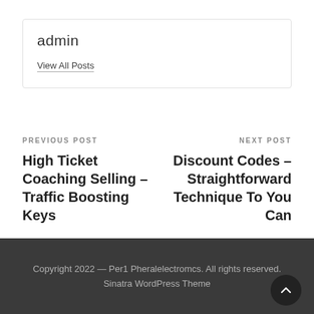admin
View All Posts
PREVIOUS POST
High Ticket Coaching Selling – Traffic Boosting Keys
NEXT POST
Discount Codes – Straightforward Technique To You Can
Copyright 2022 — Per1 Pheralelectromcs. All rights reserved. Sinatra WordPress Theme